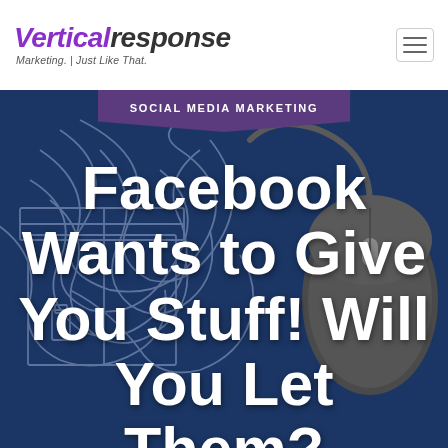VerticalResponse — Marketing. Just Like That.
SOCIAL MEDIA MARKETING
[Figure (illustration): Dark blue background with tangled network cables wrapped around an illustrated gift box on the left, and a dark grey computer mouse on the right.]
Facebook Wants to Give You Stuff! Will You Let Them?